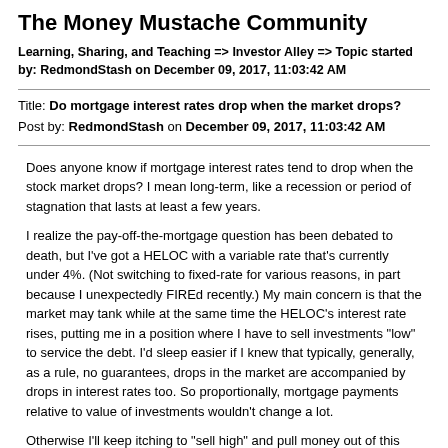The Money Mustache Community
Learning, Sharing, and Teaching => Investor Alley => Topic started by: RedmondStash on December 09, 2017, 11:03:42 AM
Title: Do mortgage interest rates drop when the market drops?
Post by: RedmondStash on December 09, 2017, 11:03:42 AM
Does anyone know if mortgage interest rates tend to drop when the stock market drops? I mean long-term, like a recession or period of stagnation that lasts at least a few years.
I realize the pay-off-the-mortgage question has been debated to death, but I've got a HELOC with a variable rate that's currently under 4%. (Not switching to fixed-rate for various reasons, in part because I unexpectedly FIREd recently.) My main concern is that the market may tank while at the same time the HELOC's interest rate rises, putting me in a position where I have to sell investments "low" to service the debt. I'd sleep easier if I knew that typically, generally, as a rule, no guarantees, drops in the market are accompanied by drops in interest rates too. So proportionally, mortgage payments relative to value of investments wouldn't change a lot.
Otherwise I'll keep itching to "sell high" and pull money out of this great bull market to pay down the HELOC, even though its